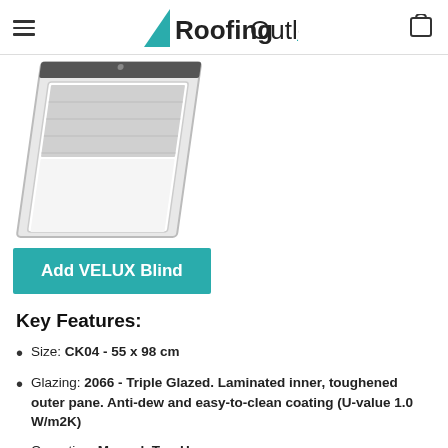RoofingOutlet.co.uk
[Figure (photo): Photo of a VELUX roof window with a grey blind partially drawn, shown at an angle on a white background]
Add VELUX Blind
Key Features:
Size: CK04 - 55 x 98 cm
Glazing: 2066 - Triple Glazed. Laminated inner, toughened outer pane. Anti-dew and easy-to-clean coating (U-value 1.0 W/m2K)
Operation: Manual, Top-Hung